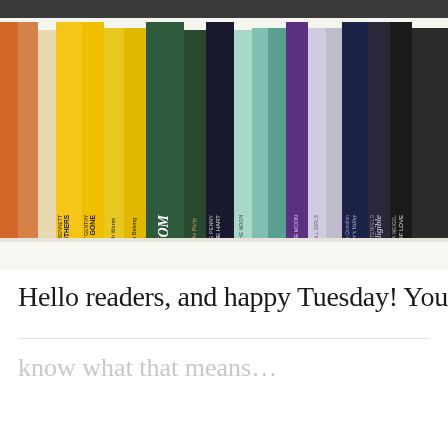[Figure (photo): A photograph of a bookshelf filled with colorful books arranged spine-out. Books visible include: The Mothers by Brit Bennett, Good as Gone by Amy Gentry, Math Wants & This Is Where You Belong, Design Mom, To the Party by Anita Brookner, The Waters of the Hart by Louise Penny, Girls in the Moon, Miller's Valley, Eligible by Curtis Sittenfeld, Labor of Love by Moira Weigel, and others. Books span orange, yellow, green, teal, blue, purple, grey, and black spines.]
Hello readers, and happy Tuesday! You
know what that means…